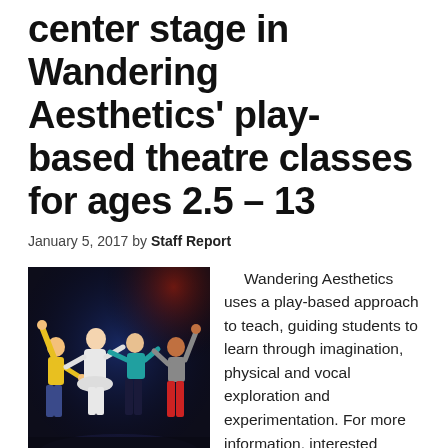center stage in Wandering Aesthetics' play-based theatre classes for ages 2.5 – 13
January 5, 2017 by Staff Report
[Figure (photo): Children holding hands and dancing on a dark stage, wearing colorful clothing]
Wandering Aesthetics uses a play-based approach to teach, guiding students to learn through imagination, physical and vocal exploration and experimentation. For more information, interested parties may contact Director of Education Kyle Jozsa via phone at 330.612.3090, email info@watheatre.com or by visiting watheatre.com/youth. Payments for classes can